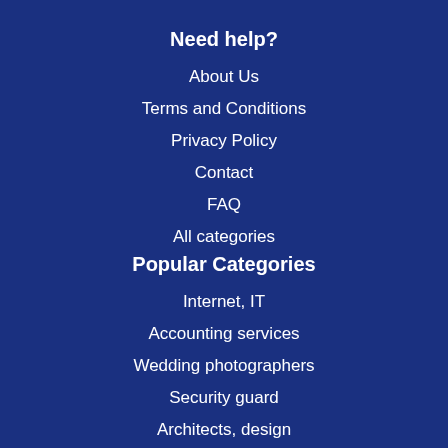Need help?
About Us
Terms and Conditions
Privacy Policy
Contact
FAQ
All categories
Popular Categories
Internet, IT
Accounting services
Wedding photographers
Security guard
Architects, design
Astrologist